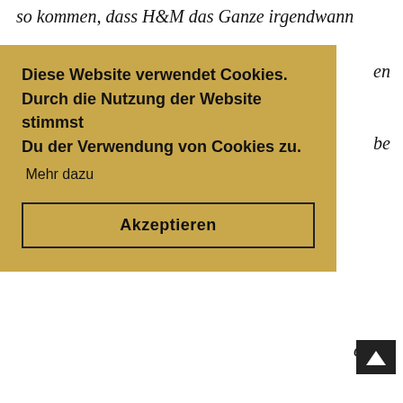so kommen, dass H&M das Ganze irgendwann
[Figure (screenshot): Cookie consent overlay with golden/tan background. Title text: 'Diese Website verwendet Cookies. Durch die Nutzung der Website stimmst Du der Verwendung von Cookies zu.' followed by 'Mehr dazu' link and an 'Akzeptieren' button with dark border.]
right?"
In the last post, my shirts found a lot of enthusiasm, so you see one of them in today’s outfit post. The Célfie print has been around for quite a while and of course it had to happen that H&M imitates it sometime. I’m not quite sure who has kicked this boom of shirts with Célfie off, but I first saw the T-shirt at Sincerely Jules by Julie Sarinana, who also sells these